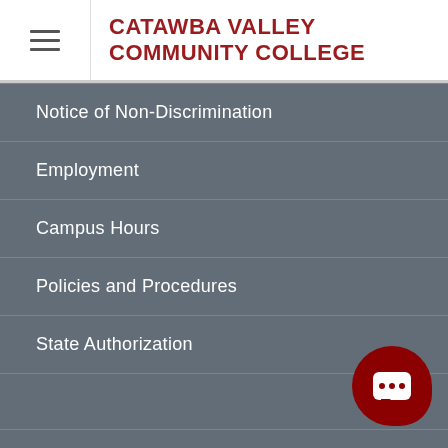CATAWBA VALLEY COMMUNITY COLLEGE
Notice of Non-Discrimination
Employment
Campus Hours
Policies and Procedures
State Authorization
Campus Directions and Maps
Campus Directory